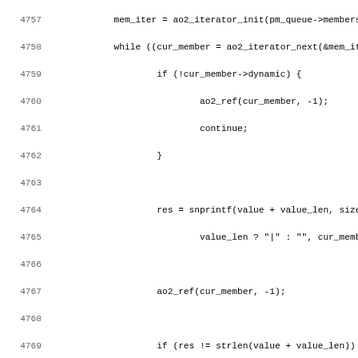Source code listing lines 4757-4788 of a C file showing queue member iteration and database operations